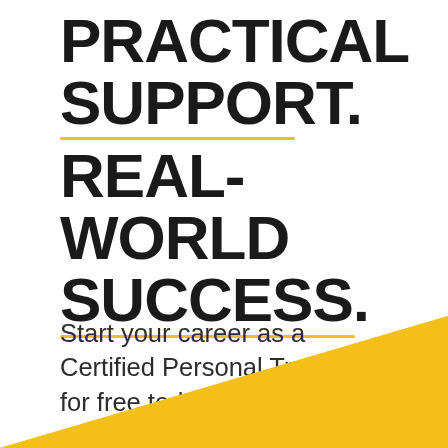PRACTICAL SUPPORT. REAL-WORLD SUCCESS.
Start your career as a Certified Personal Trainer for free today.
[Figure (illustration): Yellow/golden triangular shape in the bottom-right area of the page, forming a diagonal band from lower-left to upper-right corner of the bottom section.]